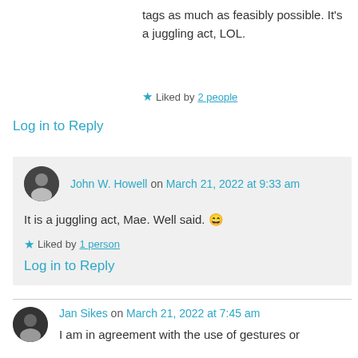tags as much as feasibly possible. It's a juggling act, LOL.
★ Liked by 2 people
Log in to Reply
John W. Howell on March 21, 2022 at 9:33 am
It is a juggling act, Mae. Well said. 😄
★ Liked by 1 person
Log in to Reply
Jan Sikes on March 21, 2022 at 7:45 am
I am in agreement with the use of gestures or